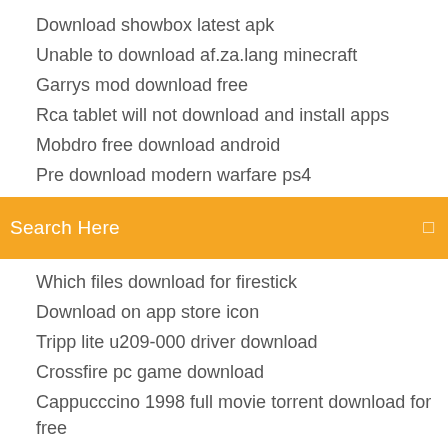Download showbox latest apk
Unable to download af.za.lang minecraft
Garrys mod download free
Rca tablet will not download and install apps
Mobdro free download android
Pre download modern warfare ps4
[Figure (other): Orange search bar with text 'Search Here' and a small icon on the right]
Which files download for firestick
Download on app store icon
Tripp lite u209-000 driver download
Crossfire pc game download
Cappucccino 1998 full movie torrent download for free
School days game download pc
Cannot open gpx file in downloads with gaia
Ishtar commander pc download
Nodejs string to download file
How to download iphone apps on andriod